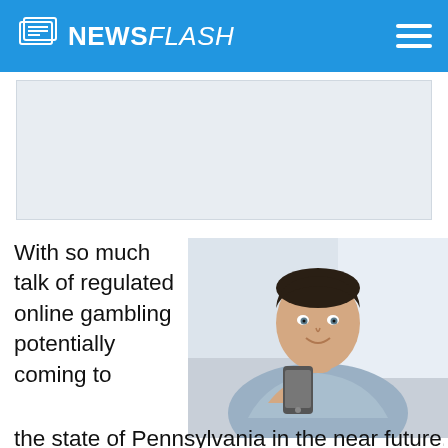NEWSFLASH
[Figure (other): Light gray advertisement placeholder box]
With so much talk of regulated online gambling potentially coming to the state of Pennsylvania in the near future, it
[Figure (photo): Young man smiling while looking at smartphone, wearing light blue shirt, indoor setting]